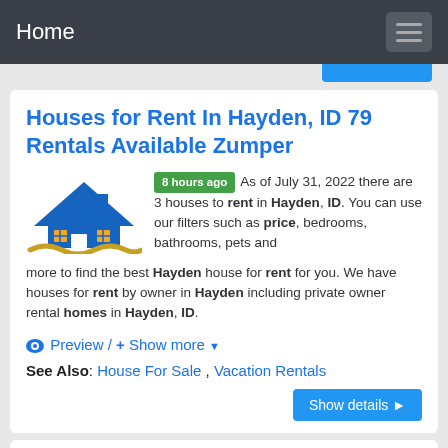Home
Houses for Rent In Hayden, ID 79 Rentals Available Zumper
8 hours ago As of July 31, 2022 there are 3 houses to rent in Hayden, ID. You can use our filters such as price, bedrooms, bathrooms, pets and more to find the best Hayden house for rent for you. We have houses for rent by owner in Hayden including private owner rental homes in Hayden, ID.
Preview / + Show more
See Also: House For Sale , Vacation Rentals